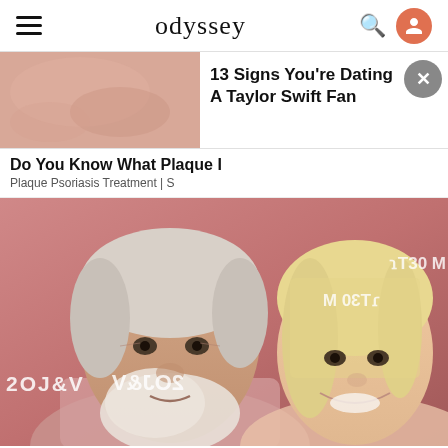odyssey
[Figure (photo): Ad banner with skin close-up image on left and text '13 Signs You're Dating A Taylor Swift Fan' on right with close button]
13 Signs You're Dating A Taylor Swift Fan
Do You Know What Plaque I
Plaque Psoriasis Treatment | S
[Figure (photo): Photo of an older man with white beard and hair beside a blonde woman, posing in front of a pink/red background with partial text overlays]